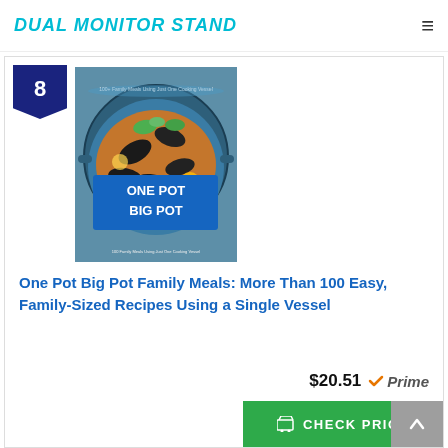DUAL MONITOR STAND
[Figure (photo): Book cover of 'One Pot Big Pot' cookbook showing a pot of mussels and seafood]
One Pot Big Pot Family Meals: More Than 100 Easy, Family-Sized Recipes Using a Single Vessel
$20.51 Prime
CHECK PRICE